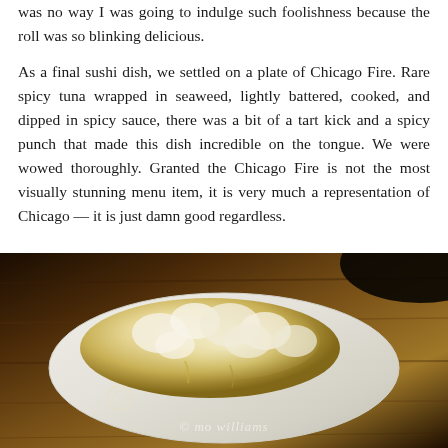was no way I was going to indulge such foolishness because the roll was so blinking delicious.
As a final sushi dish, we settled on a plate of Chicago Fire. Rare spicy tuna wrapped in seaweed, lightly battered, cooked, and dipped in spicy sauce, there was a bit of a tart kick and a spicy punch that made this dish incredible on the tongue. We were wowed thoroughly. Granted the Chicago Fire is not the most visually stunning menu item, it is very much a representation of Chicago — it is just damn good regardless.
[Figure (photo): A close-up photograph of a food dish served on a white plate against a dark wooden background. The dish appears to be a sushi or Asian fusion item with creamy, ruffled toppings. A watermark reading '© mo williams' is visible at the bottom of the image.]